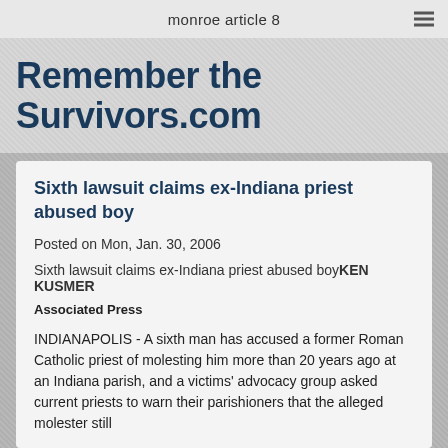monroe article 8
Remember the Survivors.com
Sixth lawsuit claims ex-Indiana priest abused boy
Posted on Mon, Jan. 30, 2006
Sixth lawsuit claims ex-Indiana priest abused boyKEN KUSMER
Associated Press
INDIANAPOLIS - A sixth man has accused a former Roman Catholic priest of molesting him more than 20 years ago at an Indiana parish, and a victims' advocacy group asked current priests to warn their parishioners that the alleged molester still